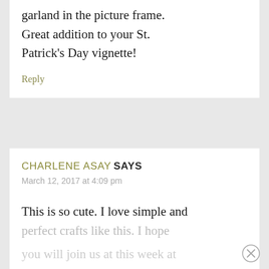garland in the picture frame. Great addition to your St. Patrick's Day vignette!
Reply
CHARLENE ASAY SAYS
March 12, 2017 at 4:09 pm
This is so cute. I love simple and perfect crafts like this. I hope you will join us at this week at